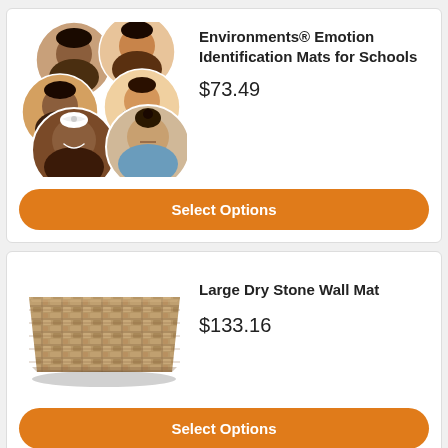[Figure (photo): Multiple circular mats showing children's faces with various emotions stacked/grouped together]
Environments® Emotion Identification Mats for Schools
$73.49
Select Options
[Figure (photo): A rectangular stone wall patterned mat lying flat]
Large Dry Stone Wall Mat
$133.16
Select Options